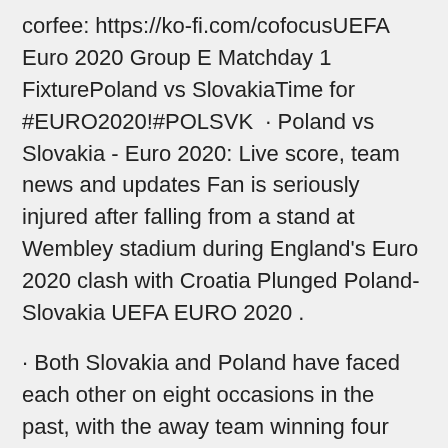corfee: https://ko-fi.com/cofocusUEFA Euro 2020 Group E Matchday 1 FixturePoland vs SlovakiaTime for #EURO2020!#POLSVK · Poland vs Slovakia - Euro 2020: Live score, team news and updates Fan is seriously injured after falling from a stand at Wembley stadium during England's Euro 2020 clash with Croatia Plunged Poland-Slovakia UEFA EURO 2020 .
· Both Slovakia and Poland have faced each other on eight occasions in the past, with the away team winning four games. The Pole have won three matches and will aim to level the playing field in this fixture. UEFA Euro 2020 Poland vs Slovakia: Team News, Injury Update · Poland vs Slovakia is scheduled for a 5pm BST kick-off on Monday, June 14, 2021. The match will be held at Gazprom Arena in St Petersburg, Russia.